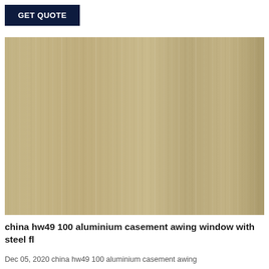GET QUOTE
[Figure (photo): Brushed metallic surface texture in golden/champagne tan color with vertical streaks, resembling brushed aluminum or steel sheet material.]
china hw49 100 aluminium casement awing window with steel fl
Dec 05, 2020 china hw49 100 aluminium casement awing